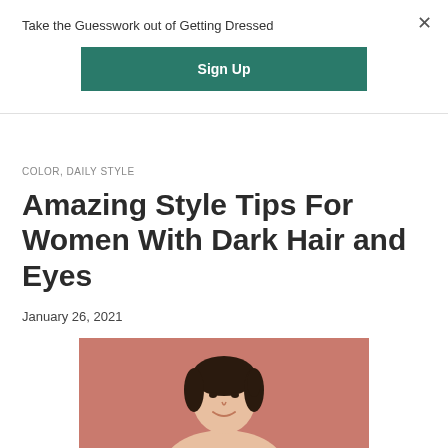Take the Guesswork out of Getting Dressed
Sign Up
×
COLOR, DAILY STYLE
Amazing Style Tips For Women With Dark Hair and Eyes
January 26, 2021
[Figure (photo): Woman with dark hair smiling against a pink/salmon background]